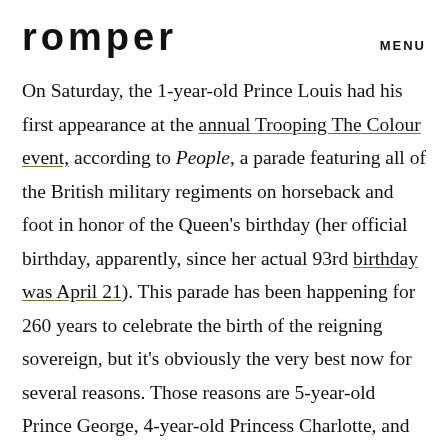romper   MENU
On Saturday, the 1-year-old Prince Louis had his first appearance at the annual Trooping The Colour event, according to People, a parade featuring all of the British military regiments on horseback and foot in honor of the Queen's birthday (her official birthday, apparently, since her actual 93rd birthday was April 21). This parade has been happening for 260 years to celebrate the birth of the reigning sovereign, but it's obviously the very best now for several reasons. Those reasons are 5-year-old Prince George, 4-year-old Princess Charlotte, and their baby brother Prince Louis... the three children of the Duke and Duchess of Cambridge. It...